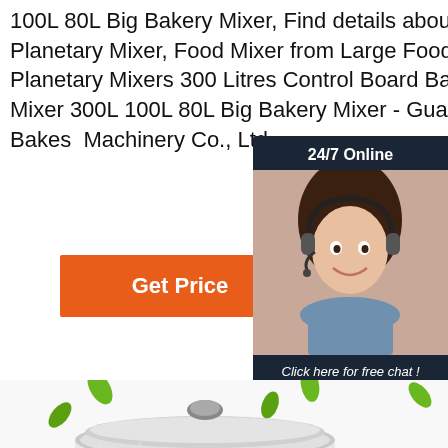100L 80L Big Bakery Mixer, Find details about China Planetary Mixer, Food Mixer from Large Food Industry Planetary Mixers 300 Litres Control Board Bakery Cake Mixer 300L 100L 80L Big Bakery Mixer - Guangzhou Bakest Machinery Co., Ltd.
[Figure (other): Orange 'Get Price' button]
[Figure (other): 24/7 online chat widget with customer service representative photo, 'Click here for free chat!' text, and orange QUOTATION button on dark navy background]
[Figure (photo): Large stainless steel mixing bowl/pot with lid and green leaves scattered around it on white background. Orange 'TOP' badge with triangle icon in bottom right.]